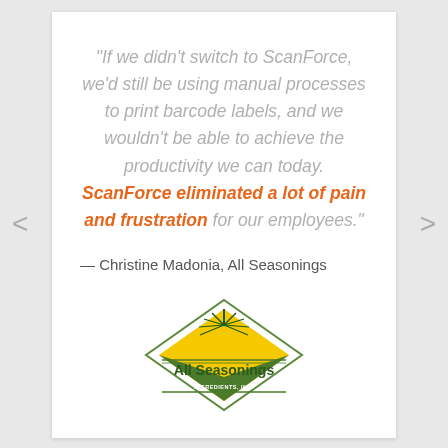“If we didn’t switch to ScanForce, we’d still be using manual processes to print barcode labels, and we wouldn’t be able to achieve the productivity we can today. ScanForce eliminated a lot of pain and frustration for our employees.”
— Christine Madonia, All Seasonings
[Figure (logo): All Seasonings Ingredients Inc. logo — diamond shape with yellow/green colors, plant graphic, green text reading All Seasonings, smaller text reading INGREDIENTS, INC.]